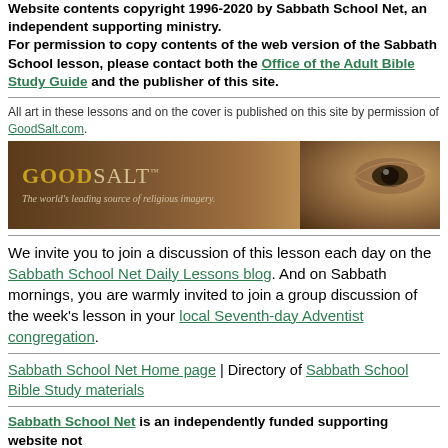Website contents copyright 1996-2020 by Sabbath School Net, an independent supporting ministry. For permission to copy contents of the web version of the Sabbath School lesson, please contact both the Office of the Adult Bible Study Guide and the publisher of this site.
All art in these lessons and on the cover is published on this site by permission of GoodSalt.com.
[Figure (photo): GoodSalt banner advertisement showing logo text 'GOODSALT' with tagline 'The world's leading source of religious imagery.' alongside a close-up image of an eye from a painting.]
We invite you to join a discussion of this lesson each day on the Sabbath School Net Daily Lessons blog. And on Sabbath mornings, you are warmly invited to join a group discussion of the week's lesson in your local Seventh-day Adventist congregation.
Sabbath School Net Home page | Directory of Sabbath School Bible Study materials
Sabbath School Net is an independently funded supporting website not